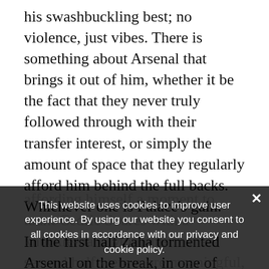his swashbuckling best; no violence, just vibes. There is something about Arsenal that brings it out of him, whether it be the fact that they never truly followed through with their transfer interest, or simply the amount of space that they regularly afford him behind the full backs. Whichever one is Palace's gain.

In the first half Zaha tormented Arsenal on the break, in one of those moods where he's decided that no one can take the ball off of him, even affording himself a moment to taunt Cedric Soares with a knuckle-ball. Moments in the second half were more meaningful, but when the goal—the one came it was worth the wait. Zaha picked the ball up in his own half and everyone else essentially stopped and watched. He skipped past a couple of
This website uses cookies to improve user experience. By using our website you consent to all cookies in accordance with our privacy and cookie policy.